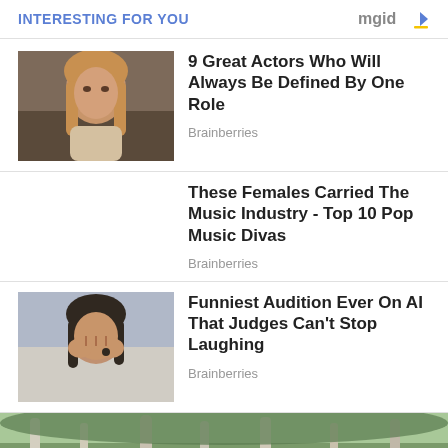INTERESTING FOR YOU
[Figure (photo): Woman with long blonde hair looking upward, TV show still]
9 Great Actors Who Will Always Be Defined By One Role
Brainberries
These Females Carried The Music Industry - Top 10 Pop Music Divas
Brainberries
[Figure (photo): Woman with dark hair holding her face in her hands, distressed expression]
Funniest Audition Ever On AI That Judges Can't Stop Laughing
Brainberries
[Figure (photo): Outdoor scene with birch trees and green foliage]